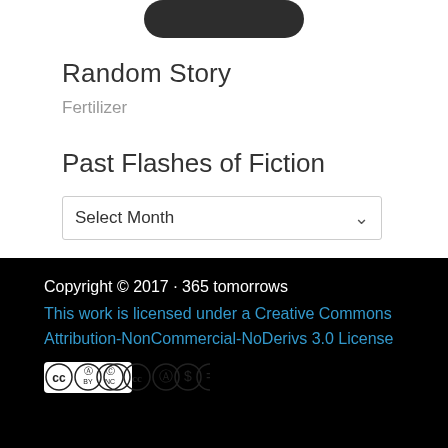[Figure (other): Dark rounded button/pill shape at top]
Random Story
Fertilizer
Past Flashes of Fiction
Select Month
Copyright © 2017 · 365 tomorrows
This work is licensed under a Creative Commons Attribution-NonCommercial-NoDerivs 3.0 License